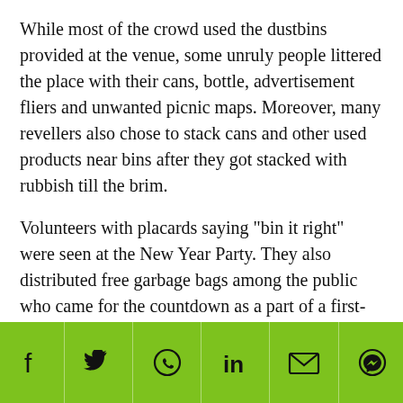While most of the crowd used the dustbins provided at the venue, some unruly people littered the place with their cans, bottle, advertisement fliers and unwanted picnic maps. Moreover, many revellers also chose to stack cans and other used products near bins after they got stacked with rubbish till the brim.
Volunteers with placards saying "bin it right" were seen at the New Year Party. They also distributed free garbage bags among the public who came for the countdown as a part of a first-time initiative undertaken by the Public Hygiene Council. "Overall, the Marina Bay area was not really clean as we observed many pockets of littering. Our volunteers went around reminding members of the public to bag their trash and bin it," said
Social sharing icons: Facebook, Twitter, WhatsApp, LinkedIn, Email, Messenger